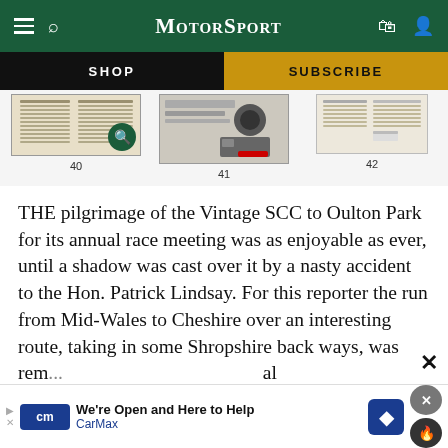MotorSport
[Figure (screenshot): Navigation bar with SHOP (dark background) and SUBSCRIBE (gold background) buttons]
[Figure (screenshot): Three magazine page thumbnails numbered 40, 41, 42 with a search magnifier badge on thumbnail 40]
THE pilgrimage of the Vintage SCC to Oulton Park for its annual race meeting was as enjoyable as ever, until a shadow was cast over it by a nasty accident to the Hon. Patrick Lindsay. For this reporter the run from Mid-Wales to Cheshire over an interesting route, taking in some Shropshire back ways, was re[...] an[...]
[Figure (screenshot): CarMax advertisement banner: We're Open and Here to Help, CarMax]